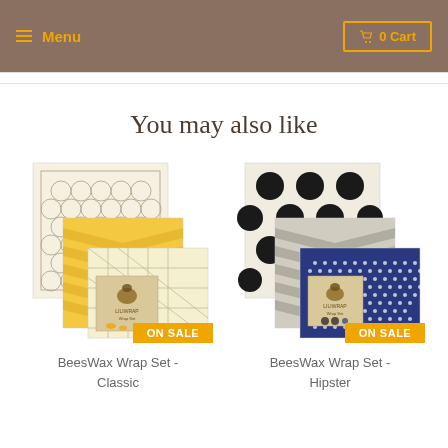Menu   0 Cart
You may also like
[Figure (photo): BeesWax Wrap Set - Classic product image showing three beeswax wraps with geometric patterns (honeycomb, chevron, grid), with an ON SALE badge]
BeesWax Wrap Set - Classic
[Figure (photo): BeesWax Wrap Set - Hipster product image showing three beeswax wraps with polka dot, chevron, and navy dot patterns, with an ON SALE badge]
BeesWax Wrap Set - Hipster